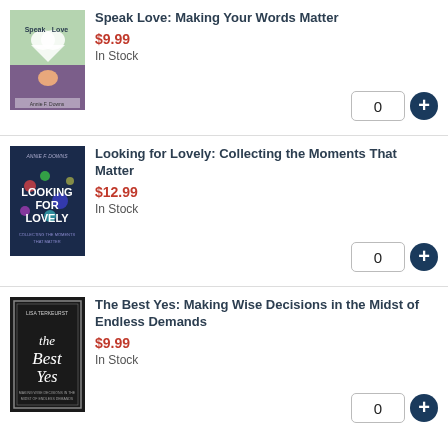[Figure (illustration): Book cover for Speak Love: Making Your Words Matter - shows a person reading with a heart shape on cover]
Speak Love: Making Your Words Matter
$9.99
In Stock
[Figure (illustration): Book cover for Looking for Lovely: Collecting the Moments That Matter - dark blue cover with colorful text]
Looking for Lovely: Collecting the Moments That Matter
$12.99
In Stock
[Figure (illustration): Book cover for The Best Yes: Making Wise Decisions in the Midst of Endless Demands - dark cover with script text]
The Best Yes: Making Wise Decisions in the Midst of Endless Demands
$9.99
In Stock